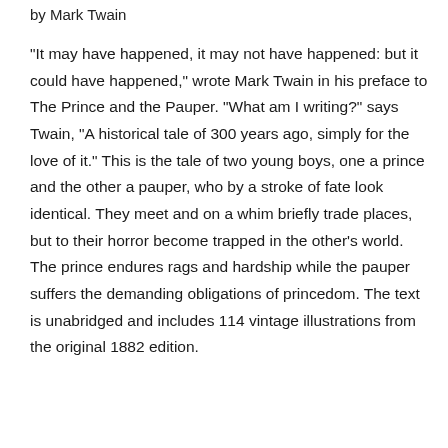by Mark Twain
“It may have happened, it may not have happened: but it could have happened,” wrote Mark Twain in his preface to The Prince and the Pauper. “What am I writing?” says Twain, “A historical tale of 300 years ago, simply for the love of it.” This is the tale of two young boys, one a prince and the other a pauper, who by a stroke of fate look identical. They meet and on a whim briefly trade places, but to their horror become trapped in the other’s world. The prince endures rags and hardship while the pauper suffers the demanding obligations of princedom. The text is unabridged and includes 114 vintage illustrations from the original 1882 edition.